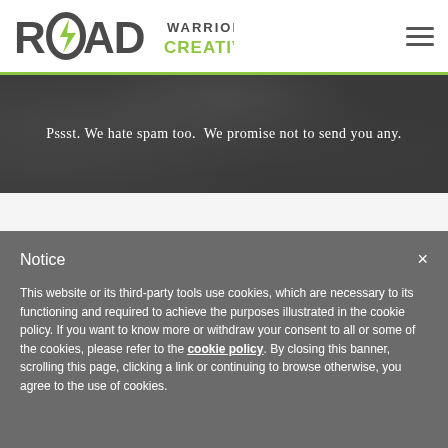Road Warrior Creative — navigation header with logo and hamburger menu
Pssst. We hate spam too.  We promise not to send you any.
Notice
This website or its third-party tools use cookies, which are necessary to its functioning and required to achieve the purposes illustrated in the cookie policy. If you want to know more or withdraw your consent to all or some of the cookies, please refer to the cookie policy. By closing this banner, scrolling this page, clicking a link or continuing to browse otherwise, you agree to the use of cookies.